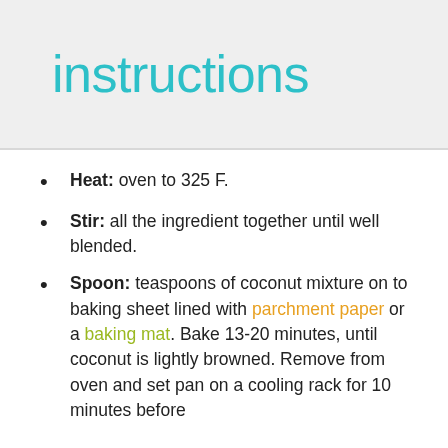instructions
Heat: oven to 325 F.
Stir: all the ingredient together until well blended.
Spoon: teaspoons of coconut mixture on to baking sheet lined with parchment paper or a baking mat. Bake 13-20 minutes, until coconut is lightly browned. Remove from oven and set pan on a cooling rack for 10 minutes before